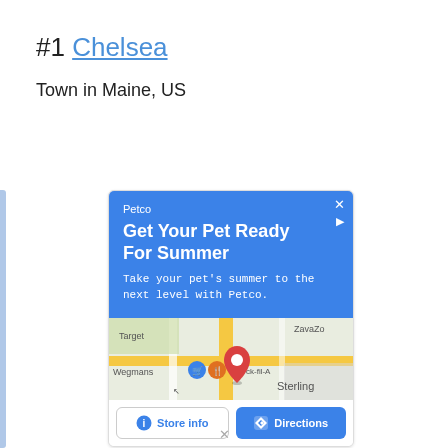#1 Chelsea
Town in Maine, US
[Figure (screenshot): Petco advertisement on Google Maps showing 'Get Your Pet Ready For Summer' with a map view of Sterling area showing Wegmans, Target, Chick-fil-A, ZavaZon locations and buttons for Store info and Directions]